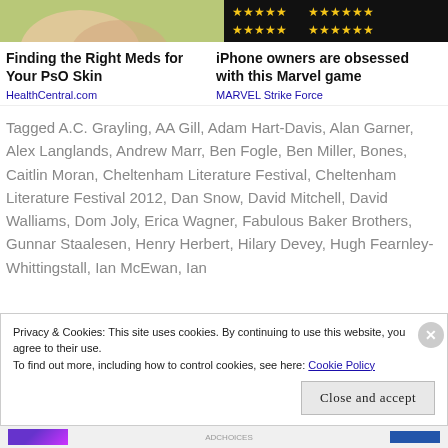[Figure (photo): Two cropped ad images at top: left shows a hand/skin on green background, right shows dark Marvel game with gold stars]
Finding the Right Meds for Your PsO Skin
HealthCentral.com
iPhone owners are obsessed with this Marvel game
MARVEL Strike Force
Tagged A.C. Grayling, AA Gill, Adam Hart-Davis, Alan Garner, Alex Langlands, Andrew Marr, Ben Fogle, Ben Miller, Bones, Caitlin Moran, Cheltenham Literature Festival, Cheltenham Literature Festival 2012, Dan Snow, David Mitchell, David Walliams, Dom Joly, Erica Wagner, Fabulous Baker Brothers, Gunnar Staalesen, Henry Herbert, Hilary Devey, Hugh Fearnley-Whittingstall, Ian McEwan, Ian
Privacy & Cookies: This site uses cookies. By continuing to use this website, you agree to their use.
To find out more, including how to control cookies, see here: Cookie Policy
Close and accept